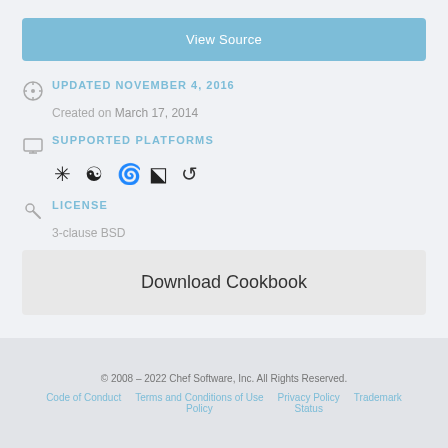View Source
UPDATED NOVEMBER 4, 2016
Created on March 17, 2014
SUPPORTED PLATFORMS
[Figure (illustration): Platform icons: snowflake/asterisk, yin-yang, Debian swirl, Ubuntu, cloud/back arrow]
LICENSE
3-clause BSD
Download Cookbook
© 2008 – 2022 Chef Software, Inc. All Rights Reserved. Code of Conduct   Terms and Conditions of Use Policy   Privacy Policy   Status   Trademark